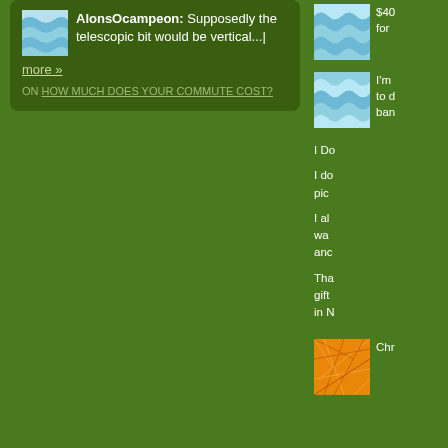AlonsOcampeon: Supposedly the telescopic bit would be vertical...
more »
ON HOW MUCH DOES YOUR COMMUTE COST?
[Figure (illustration): Blue wave/water pattern thumbnail image (top right, first)]
$40 for
[Figure (illustration): Blue wave/water pattern thumbnail image (right panel, second)]
I'm to do ban
I Do
I do pic
I al wa anc
Tha gift in N
[Figure (illustration): Orange geometric/cracked pattern thumbnail image (bottom right)]
Chr